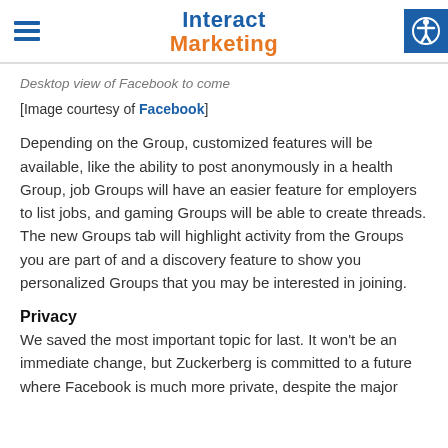Interact Marketing
Desktop view of Facebook to come
[Image courtesy of Facebook]
Depending on the Group, customized features will be available, like the ability to post anonymously in a health Group, job Groups will have an easier feature for employers to list jobs, and gaming Groups will be able to create threads. The new Groups tab will highlight activity from the Groups you are part of and a discovery feature to show you personalized Groups that you may be interested in joining.
Privacy
We saved the most important topic for last. It won't be an immediate change, but Zuckerberg is committed to a future where Facebook is much more private, despite the major